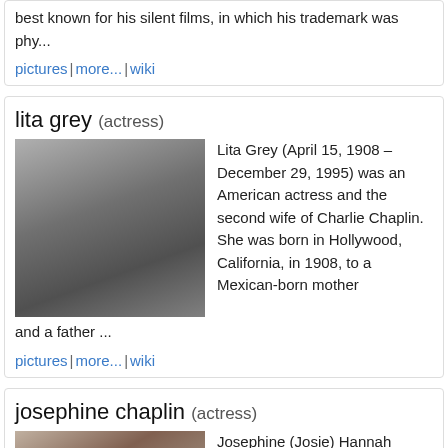best known for his silent films, in which his trademark was phy...
pictures | more... | wiki
lita grey (actress)
[Figure (photo): Black and white portrait photo of Lita Grey]
Lita Grey (April 15, 1908 – December 29, 1995) was an American actress and the second wife of Charlie Chaplin. She was born in Hollywood, California, in 1908, to a Mexican-born mother and a father ...
pictures | more... | wiki
josephine chaplin (actress)
[Figure (photo): Black and white portrait photo of Josephine Chaplin]
Josephine (Josie) Hannah Chaplin (born March 28, 1949 in Santa Monica, California) is an actress and the daughter of filmmaker Charlie Chaplin and his last wife, Oona O'Neill. She has